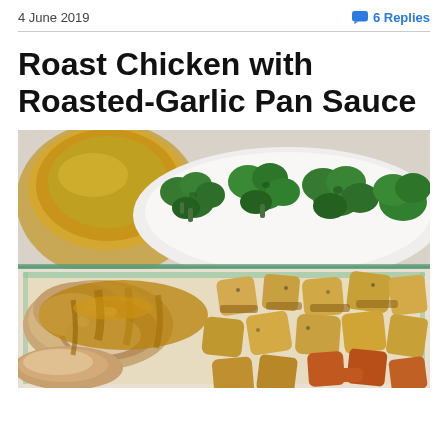4 June 2019   6 Replies
Roast Chicken with Roasted-Garlic Pan Sauce
[Figure (photo): Food photo showing a baking dish of roasted chicken pieces covered in a golden roasted-garlic pan sauce, surrounded by roasted potato and sweet potato chunks. In the upper portion, a white plate with steamed broccoli florets and a bowl of golden pan sauce are visible.]